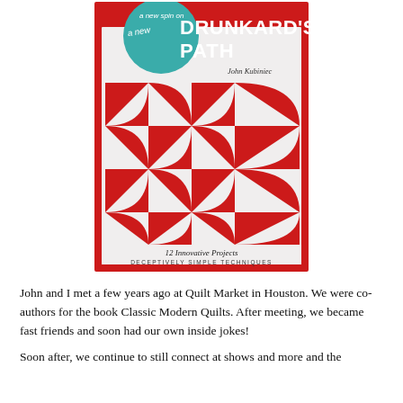[Figure (illustration): Book cover of 'A New Spin on Drunkard's Path' by John Kubiniec. Red and white quilt pattern cover with teal circular badge. Text reads '12 Innovative Projects, Deceptively Simple Techniques'.]
John and I met a few years ago at Quilt Market in Houston. We were co-authors for the book Classic Modern Quilts. After meeting, we became fast friends and soon had our own inside jokes!
Soon after, we continue to still connect at shows and more and the...